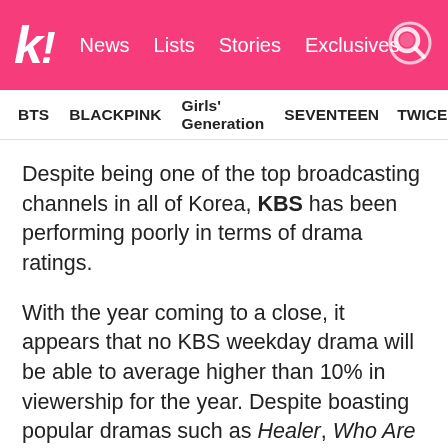k! News  Lists  Stories  Exclusives
BTS  BLACKPINK  Girls' Generation  SEVENTEEN  TWICE
Despite being one of the top broadcasting channels in all of Korea, KBS has been performing poorly in terms of drama ratings.
With the year coming to a close, it appears that no KBS weekday drama will be able to average higher than 10% in viewership for the year. Despite boasting popular dramas such as Healer, Who Are You – School 2015, and Oh My Venus, the channel has not been meeting expectations in terms of ratings. Netizens have expressed their opinions on the issue, noting that the channel's performance might be